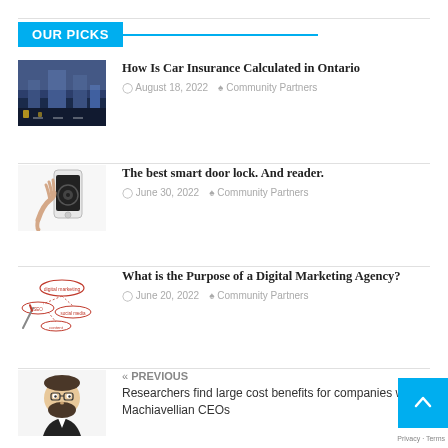OUR PICKS
How Is Car Insurance Calculated in Ontario | August 18, 2022 | Community Partners
The best smart door lock. And reader. | June 30, 2022 | Community Partners
What is the Purpose of a Digital Marketing Agency? | June 20, 2022 | Community Partners
« PREVIOUS Researchers find large cost benefits for companies with Machiavellian CEOs